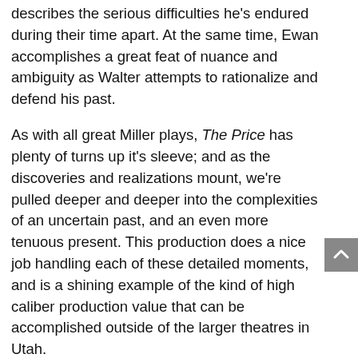describes the serious difficulties he's endured during their time apart. At the same time, Ewan accomplishes a great feat of nuance and ambiguity as Walter attempts to rationalize and defend his past.
As with all great Miller plays, The Price has plenty of turns up it's sleeve; and as the discoveries and realizations mount, we're pulled deeper and deeper into the complexities of an uncertain past, and an even more tenuous present. This production does a nice job handling each of these detailed moments, and is a shining example of the kind of high caliber production value that can be accomplished outside of the larger theatres in Utah.
The second act of the play is pure firepower. Everything comes to a head, and we're treated to some of the more sublimely powerful stage moments this reviewer has seen in a long time. Lund delivers a captivating